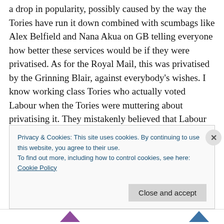a drop in popularity, possibly caused by the way the Tories have run it down combined with scumbags like Alex Belfield and Nana Akua on GB telling everyone how better these services would be if they were privatised. As for the Royal Mail, this was privatised by the Grinning Blair, against everybody's wishes. I know working class Tories who actually voted Labour when the Tories were muttering about privatising it. They mistakenly believed that Labour wouldn't sell it off. This is what happens with Blairite Labour: you get Hobson's choice. The faces change, but the policies don't, because Labour's listening to the same
Privacy & Cookies: This site uses cookies. By continuing to use this website, you agree to their use.
To find out more, including how to control cookies, see here: Cookie Policy
Close and accept